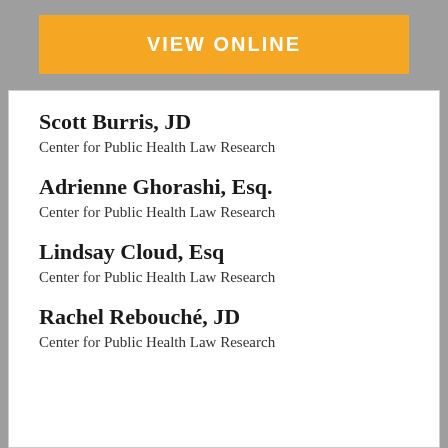VIEW ONLINE
Scott Burris, JD
Center for Public Health Law Research
Adrienne Ghorashi, Esq.
Center for Public Health Law Research
Lindsay Cloud, Esq
Center for Public Health Law Research
Rachel Rebouché, JD
Center for Public Health Law Research